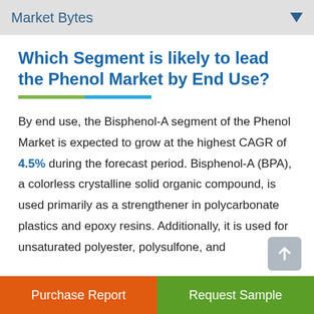Market Bytes
Which Segment is likely to lead the Phenol Market by End Use?
By end use, the Bisphenol-A segment of the Phenol Market is expected to grow at the highest CAGR of 4.5% during the forecast period. Bisphenol-A (BPA), a colorless crystalline solid organic compound, is used primarily as a strengthener in polycarbonate plastics and epoxy resins. Additionally, it is used for unsaturated polyester, polysulfone, and
Purchase Report | Request Sample